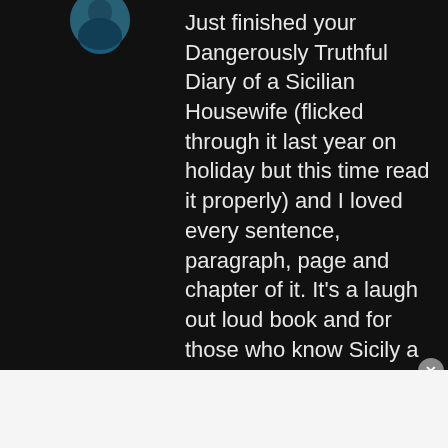[Figure (photo): Partial circular avatar photo at top left, showing a person with blue/teal tones]
Just finished your Dangerously Truthful Diary of a Sicilian Housewife (flicked through it last year on holiday but this time read it properly) and I loved every sentence, paragraph, page and chapter of it. It's a laugh out loud book and for those who know Sicily a bit (I count myself as one of those), it is easy to recognise the characters who appear. PLEASE, let's have a second volume of your life's trials in that island. I miss the Godmother and all your relatives
Advertisements
[Figure (photo): Advertisement banner showing beauty/makeup imagery including lips, brush, eye, ULTA Beauty logo, eye makeup, and SHOP NOW text]